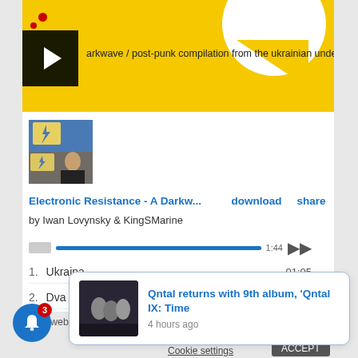[Figure (screenshot): Yellow banner with darkwave/post-punk compilation artwork, play button thumbnail, and text]
[Figure (photo): Album artwork thumbnail for Electronic Resistance - A Darkw...]
Electronic Resistance - A Darkw...  download  share
by Iwan Lovynsky & KingSMarine
1.  Ukraina  01:05
2.  Dva Dereva — Wind In The Desert  14:22
This website u...  ...ume you're...
[Figure (photo): Notification popup thumbnail showing group of people]
Qntal returns with 9th album, 'Qntal IX: Time
4 hours ago
Cookie settings  ACCEPT